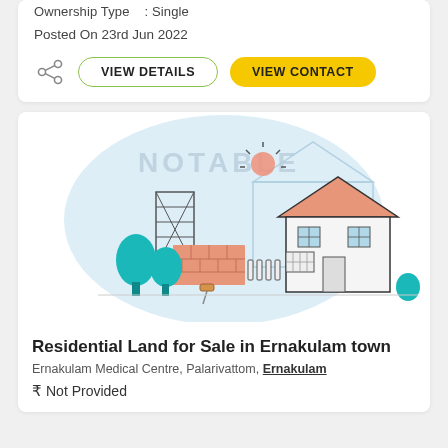Ownership Type : Single
Posted On 23rd Jun 2022
VIEW DETAILS
VIEW CONTACT
[Figure (illustration): Real estate illustration showing a house under construction with trees, bricks, a tower, and sun. Watermark text 'NOT AVAILABLE' visible.]
Residential Land for Sale in Ernakulam town
Ernakulam Medical Centre, Palarivattom, Ernakulam
₹ Not Provided